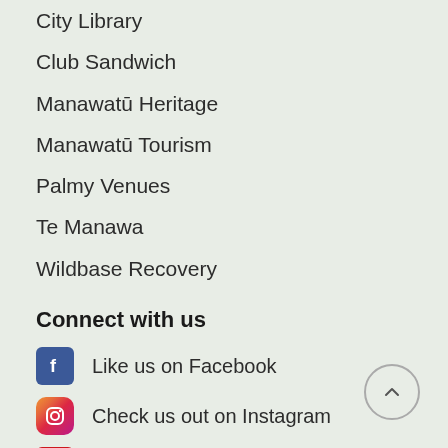City Library
Club Sandwich
Manawatū Heritage
Manawatū Tourism
Palmy Venues
Te Manawa
Wildbase Recovery
Connect with us
Like us on Facebook
Check us out on Instagram
Watch our YouTube Channel
Connect with us on LinkedIn